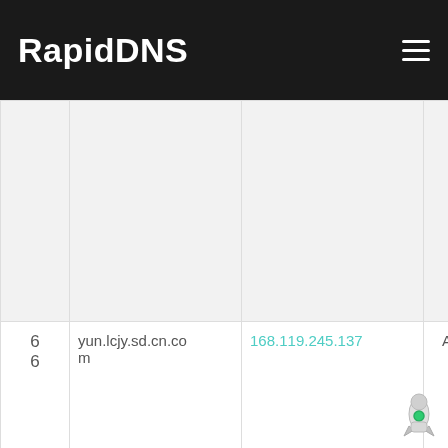RapidDNS
| # | Domain | IP | Type | Date |
| --- | --- | --- | --- | --- |
|  |  |  |  | 1
1-
0
6 |
| 6 6 | yun.lcjy.sd.cn.com | 168.119.245.137 | A | 2
0
2
1-
1
1-
0
6 |
| 6 | yun.qzedu.gov.c | 168.119.245.137 | A | 2 |